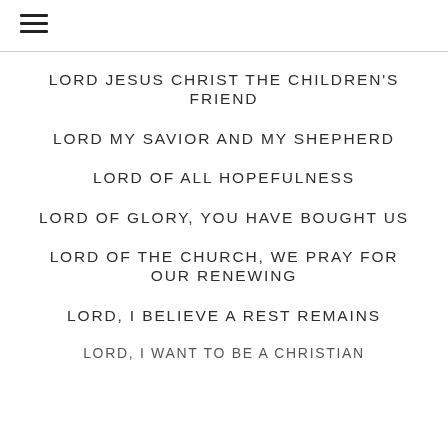LORD JESUS CHRIST THE CHILDREN'S FRIEND
LORD MY SAVIOR AND MY SHEPHERD
LORD OF ALL HOPEFULNESS
LORD OF GLORY, YOU HAVE BOUGHT US
LORD OF THE CHURCH, WE PRAY FOR OUR RENEWING
LORD, I BELIEVE A REST REMAINS
LORD, I WANT TO BE A CHRISTIAN